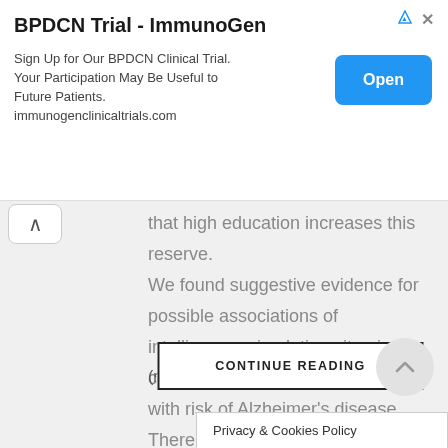[Figure (screenshot): Advertisement banner for BPDCN Trial by ImmunoGen with 'Open' button]
BPDCN Trial - ImmunoGen
Sign Up for Our BPDCN Clinical Trial. Your Participation May Be Useful to Future Patients. immunogenclinicaltrials.com
that high education increases this reserve. We found suggestive evidence for possible associations of intelligence, circulating vitamin D, coffee consumption, and smoking with risk of Alzheimer's disease. There was no evidence for a causal link with other modifiable factors, such as vascular risk factors.
(more…)
CONTINUE READING
Privacy & Cookies Policy